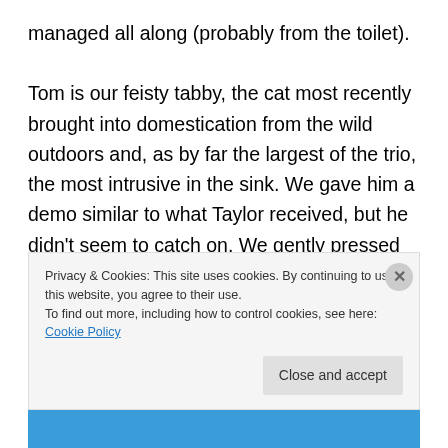managed all along (probably from the toilet).

Tom is our feisty tabby, the cat most recently brought into domestication from the wild outdoors and, as by far the largest of the trio, the most intrusive in the sink. We gave him a demo similar to what Taylor received, but he didn't seem to catch on. We gently pressed his face toward the small pond, trying to wet his lips without wetting his nose, which is no easy feat if you've ever studied the anatomy of the typical cat face. It could've been a small nuclear reactor as far as Tom was concerned — all he knew was
Privacy & Cookies: This site uses cookies. By continuing to use this website, you agree to their use.
To find out more, including how to control cookies, see here: Cookie Policy
Close and accept